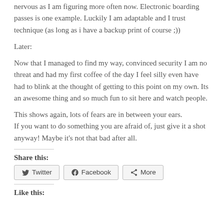nervous as I am figuring more often now. Electronic boarding passes is one example. Luckily I am adaptable and I trust technique (as long as i have a backup print of course ;))
Later:
Now that I managed to find my way, convinced security I am no threat and had my first coffee of the day I feel silly even have had to blink at the thought of getting to this point on my own. Its an awesome thing and so much fun to sit here and watch people.
This shows again, lots of fears are in between your ears. If you want to do something you are afraid of, just give it a shot anyway! Maybe it's not that bad after all.
Share this:
Twitter   Facebook   More
Like this: